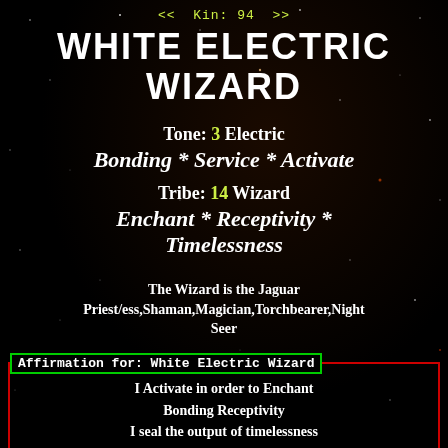<< Kin: 94 >>
WHITE ELECTRIC WIZARD
Tone: 3 Electric
Bonding * Service * Activate
Tribe: 14 Wizard
Enchant * Receptivity * Timelessness
The Wizard is the Jaguar Priest/ess,Shaman,Magician,Torchbearer,Night Seer
Affirmation for: White Electric Wizard
I Activate in order to Enchant
Bonding Receptivity
I seal the output of timelessness
With the Electric tone of Service
I am guided by the power of Endlessness
... White Electric Wizard ...